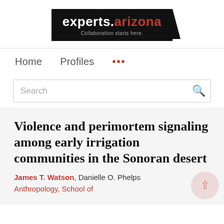[Figure (logo): experts.arizona logo — white text on black background with tagline 'Collaboration starts here.']
Home   Profiles   ...
Search
Violence and perimortem signaling among early irrigation communities in the Sonoran desert
James T. Watson, Danielle O. Phelps
Anthropology, School of